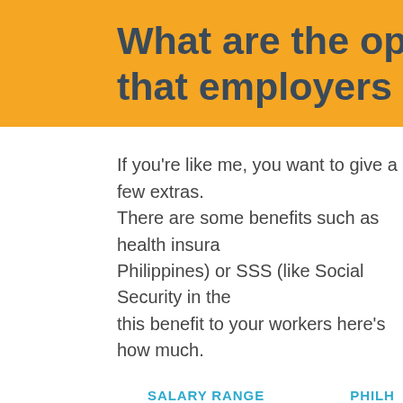What are the optio... that employers c...
If you're like me, you want to give a few extras. There are some benefits such as health insura... Philippines) or SSS (like Social Security in the... this benefit to your workers here's how much...
| SALARY RANGE | PHILH... |
| --- | --- |
| $200 – $249 | $5... |
| $250 – $299 | $7... |